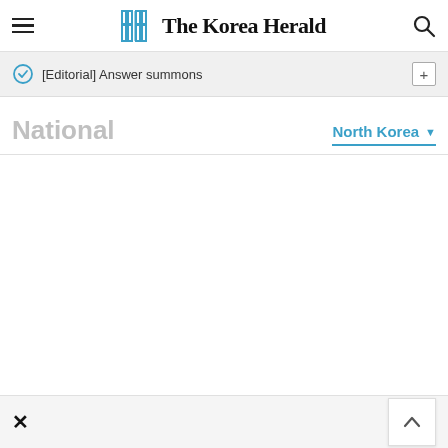The Korea Herald
[Editorial] Answer summons
National
North Korea